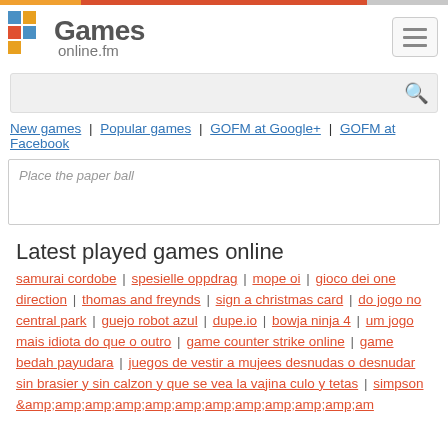[Figure (logo): Games online.fm logo with colorful square grid icon and hamburger menu button]
[Figure (screenshot): Search bar with magnifying glass icon]
New games | Popular games | GOFM at Google+ | GOFM at Facebook
Place the paper ball
Latest played games online
samurai cordobe | spesielle oppdrag | mope oi | gioco dei one direction | thomas and freynds | sign a christmas card | do jogo no central park | guejo robot azul | dupe.io | bowja ninja 4 | um jogo mais idiota do que o outro | game counter strike online | game bedah payudara | juegos de vestir a mujees desnudas o desnudar sin brasier y sin calzon y que se vea la vajina culo y tetas | simpson &amp;amp;amp;amp;amp;amp;amp;amp;amp;amp;amp;amp;am